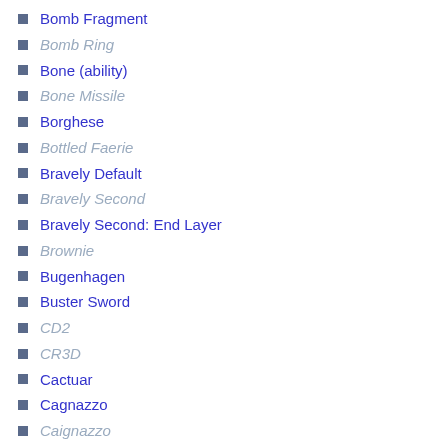Bomb Fragment
Bomb Ring
Bone (ability)
Bone Missile
Borghese
Bottled Faerie
Bravely Default
Bravely Second
Bravely Second: End Layer
Brownie
Bugenhagen
Buster Sword
CD2
CR3D
Cactuar
Cagnazzo
Caignazzo
Canoe
Captain N
Captain N: The Game Master
Caravan
Carbuncle